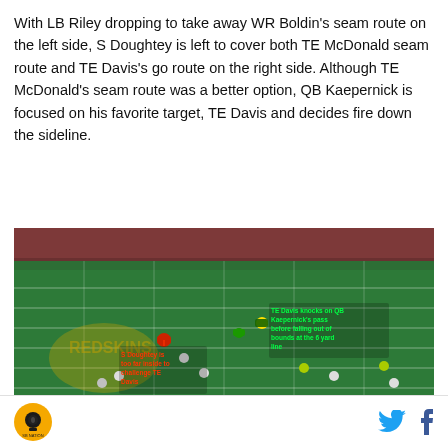With LB Riley dropping to take away WR Boldin's seam route on the left side, S Doughtey is left to cover both TE McDonald seam route and TE Davis's go route on the right side. Although TE McDonald's seam route was a better option, QB Kaepernick is focused on his favorite target, TE Davis and decides fire down the sideline.
[Figure (photo): Aerial view of an NFL football game on the field with player annotations in red and green text: 'S Doughtey is too far inside to challenge TE Davis' and 'TE Davis knocks on QB Kaepernick's pass before falling out of bounds at the 6 yard line']
Logo icon and social media icons (Twitter, Facebook)